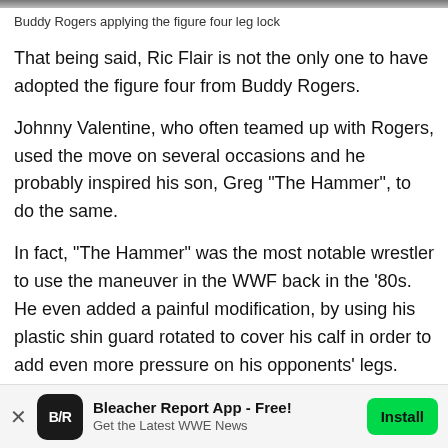[Figure (photo): Top image strip showing Buddy Rogers applying the figure four leg lock (partially cropped)]
Buddy Rogers applying the figure four leg lock
That being said, Ric Flair is not the only one to have adopted the figure four from Buddy Rogers.
Johnny Valentine, who often teamed up with Rogers, used the move on several occasions and he probably inspired his son, Greg "The Hammer", to do the same.
In fact, "The Hammer" was the most notable wrestler to use the maneuver in the WWF back in the '80s. He even added a painful modification, by using his plastic shin guard rotated to cover his calf in order to add even more pressure on his opponents' legs.
[Figure (screenshot): Bleacher Report App advertisement banner at the bottom of the page]